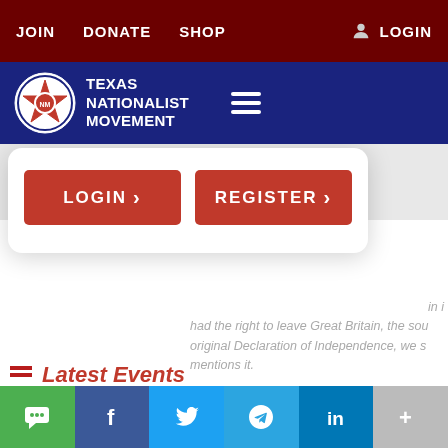JOIN  DONATE  SHOP  LOGIN
[Figure (logo): Texas Nationalist Movement logo with star emblem and hamburger menu]
[Figure (screenshot): Login and Register buttons overlay card]
had the right to leave Great Britain, the original Declaration of Independence, we s mentions it.
Latest Events
[Figure (infographic): Social share bar with SMS, Facebook, Twitter, Telegram, LinkedIn, and More buttons]